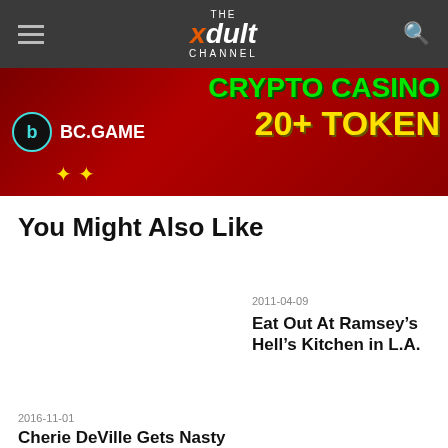The xdult Channel
[Figure (photo): BC.GAME Crypto Casino 20+ Token advertisement banner, dark red background with green and yellow text]
You Might Also Like
[Figure (photo): Blonde woman looking up outdoors, blue sky and trees in background, with INDUSTRY NEWS tag overlay]
2016-11-01
Cherie DeVille Gets Nasty In “Buttman Anal Savant” From Evil Angel
2011-04-09
Eat Out At Ramsey’s Hell’s Kitchen in L.A.